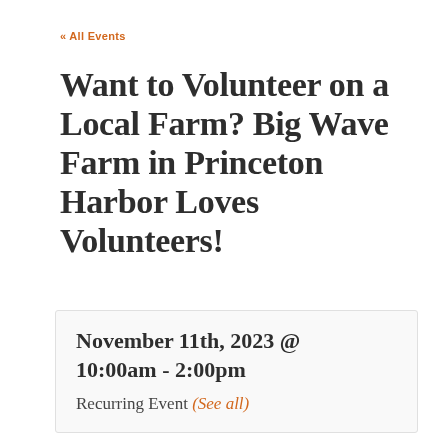« All Events
Want to Volunteer on a Local Farm? Big Wave Farm in Princeton Harbor Loves Volunteers!
November 11th, 2023 @ 10:00am - 2:00pm
Recurring Event (See all)